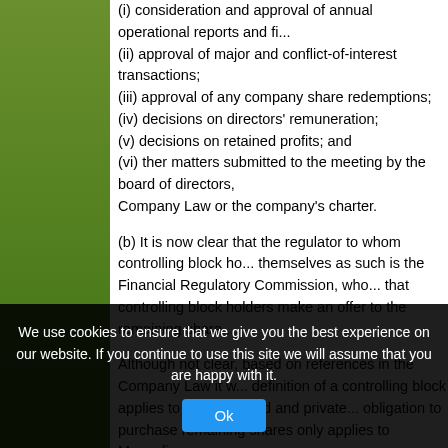(i) consideration and approval of annual operational reports and fi...
(ii) approval of major and conflict-of-interest transactions;
(iii) approval of any company share redemptions;
(iv) decisions on directors' remuneration;
(v) decisions on retained profits; and
(vi) ther matters submitted to the meeting by the board of directors, Company Law or the company's charter.
(b) It is now clear that the regulator to whom controlling block holders must register themselves as such is the Financial Regulatory Commission, who also has the power to require that controlling block holders make an offer to the remaining shareholders.
Although not clear, based on references in the Company Law it would appear that the definition of a controlling block applies to publicly-listed and private companies but the obligation to purchase remaining shares only applies to Mongolian Stock Exchange listed...
Amendments To The Corporate Income Tax Law
The Law of Mongolia on Amendments to the Corporate Income Tax... 2014.
The law added (with immediate effect) a new Article 17.2.10 to the... Corporate Income Tax, which provides that where Mongolian bank...
We use cookies to ensure that we give you the best experience on our website. If you continue to use this site we will assume that you are happy with it.